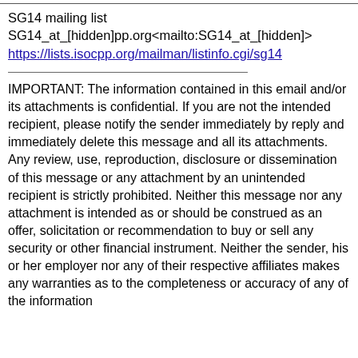SG14 mailing list
SG14_at_[hidden]pp.org<mailto:SG14_at_[hidden]>
https://lists.isocpp.org/mailman/listinfo.cgi/sg14
IMPORTANT: The information contained in this email and/or its attachments is confidential. If you are not the intended recipient, please notify the sender immediately by reply and immediately delete this message and all its attachments. Any review, use, reproduction, disclosure or dissemination of this message or any attachment by an unintended recipient is strictly prohibited. Neither this message nor any attachment is intended as or should be construed as an offer, solicitation or recommendation to buy or sell any security or other financial instrument. Neither the sender, his or her employer nor any of their respective affiliates makes any warranties as to the completeness or accuracy of any of the information